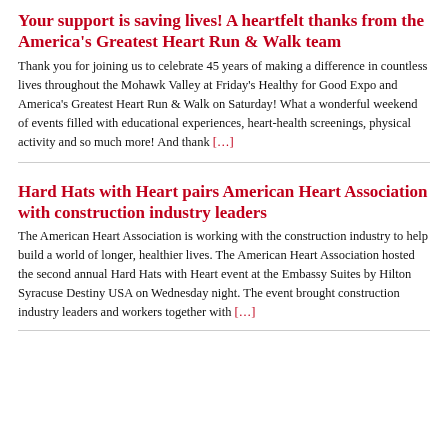Your support is saving lives! A heartfelt thanks from the America's Greatest Heart Run & Walk team
Thank you for joining us to celebrate 45 years of making a difference in countless lives throughout the Mohawk Valley at Friday's Healthy for Good Expo and America's Greatest Heart Run & Walk on Saturday! What a wonderful weekend of events filled with educational experiences, heart-health screenings, physical activity and so much more! And thank […]
Hard Hats with Heart pairs American Heart Association with construction industry leaders
The American Heart Association is working with the construction industry to help build a world of longer, healthier lives. The American Heart Association hosted the second annual Hard Hats with Heart event at the Embassy Suites by Hilton Syracuse Destiny USA on Wednesday night. The event brought construction industry leaders and workers together with […]